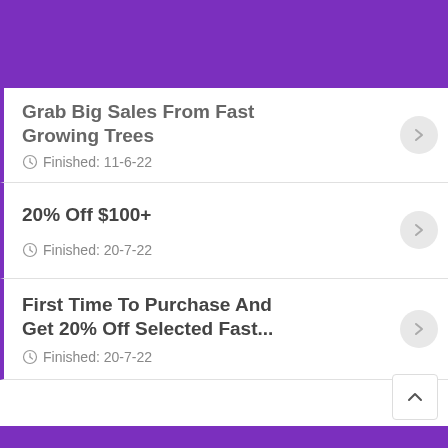Grab Big Sales From Fast Growing Trees
Finished: 11-6-22
20% Off $100+
Finished: 20-7-22
First Time To Purchase And Get 20% Off Selected Fast...
Finished: 20-7-22